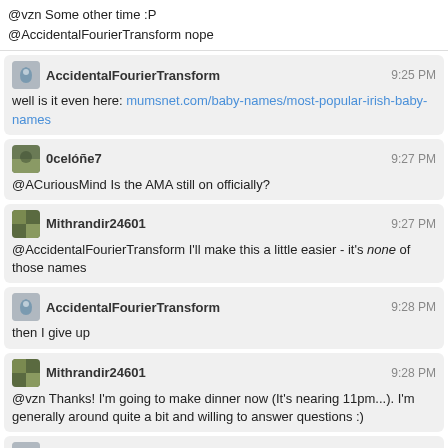@vzn Some other time :P
@AccidentalFourierTransform nope
AccidentalFourierTransform 9:25 PM
well is it even here: mumsnet.com/baby-names/most-popular-irish-baby-names
0celóñe7 9:27 PM
@ACuriousMind Is the AMA still on officially?
Mithrandir24601 9:27 PM
@AccidentalFourierTransform I'll make this a little easier - it's none of those names
AccidentalFourierTransform 9:28 PM
then I give up
Mithrandir24601 9:28 PM
@vzn Thanks! I'm going to make dinner now (It's nearing 11pm...). I'm generally around quite a bit and willing to answer questions :)
AccidentalFourierTransform 9:29 PM
later alligator
ACuriousMind 9:33 PM
@Mithrandir24601 I'd like to hear the answers to my weak measurement and PT questions some time in the future ;)
Mithrandir24601 9:42 PM
@ACuriousMind Yeah, they were really good questions too - not right now, but sometime, definitely!